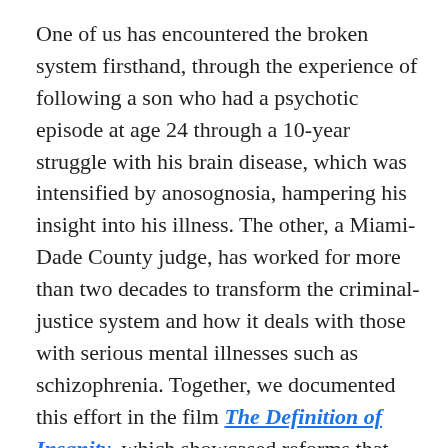One of us has encountered the broken system firsthand, through the experience of following a son who had a psychotic episode at age 24 through a 10-year struggle with his brain disease, which was intensified by anosognosia, hampering his insight into his illness. The other, a Miami-Dade County judge, has worked for more than two decades to transform the criminal-justice system and how it deals with those with serious mental illnesses such as schizophrenia. Together, we documented this effort in the film The Definition of Insanity, which showcased reforms that have saved both lives and money. Our experience proved to us that even a broken system can be mended.
President Joe Biden's recent announcement of a new package of measures building on last year's American Rescue Plan and aimed at tackling the country's crises